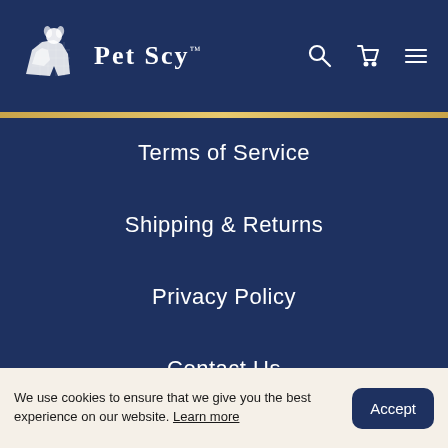PetScy™ navigation header with logo, search, cart, and menu icons
Terms of Service
Shipping & Returns
Privacy Policy
Contact Us
How Subscriptions Work
Refund policy
We use cookies to ensure that we give you the best experience on our website. Learn more  Accept